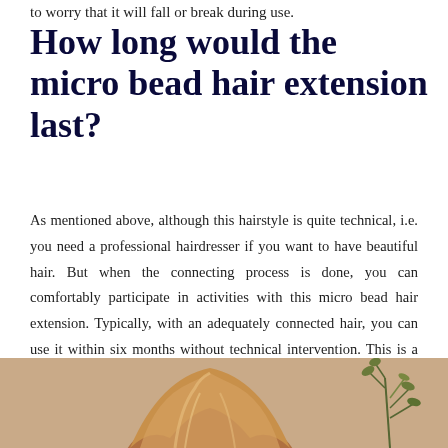to worry that it will fall or break during use.
How long would the micro bead hair extension last?
As mentioned above, although this hairstyle is quite technical, i.e. you need a professional hairdresser if you want to have beautiful hair. But when the connecting process is done, you can comfortably participate in activities with this micro bead hair extension. Typically, with an adequately connected hair, you can use it within six months without technical intervention. This is a desirable time because, with other hair extension techniques, the time can only last about three months.
[Figure (photo): Photo of a woman with hair extensions showing brown highlighted hair, with a plant/foliage visible in the background on the right side.]